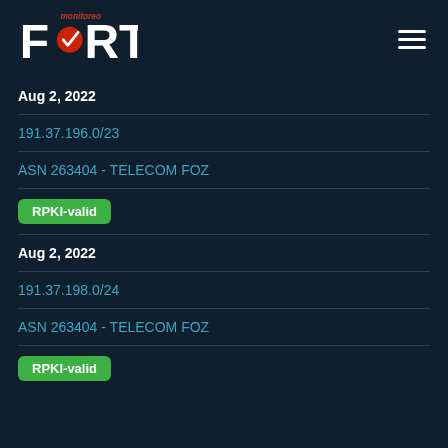[Figure (logo): Fort Monitoreo logo with checkmark]
Aug 2, 2022
191.37.196.0/23
ASN 263404 - TELECOM FOZ
RPKI-valid
Aug 2, 2022
191.37.198.0/24
ASN 263404 - TELECOM FOZ
RPKI-valid